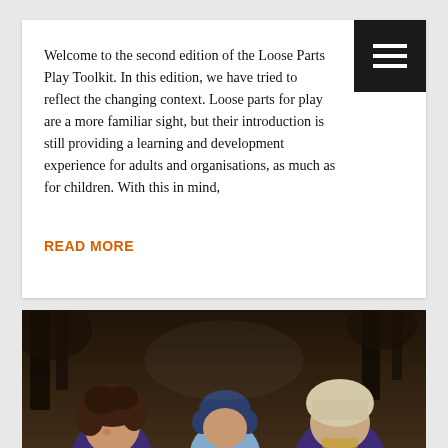Welcome to the second edition of the Loose Parts Play Toolkit. In this edition, we have tried to reflect the changing context. Loose parts for play are a more familiar sight, but their introduction is still providing a learning and development experience for adults and organisations, as much as for children. With this in mind,
READ MORE
[Figure (photo): Three young children in colourful winter outdoor clothing (purple, pink and orange) playing together on muddy ground in a forest setting. The child on the left has curly hair and is smiling, the child in the centre wears a navy blue hat, and the child on the right faces away wearing a cream hat. Trees visible in the background. A down-chevron navigation arrow appears in the bottom right.]